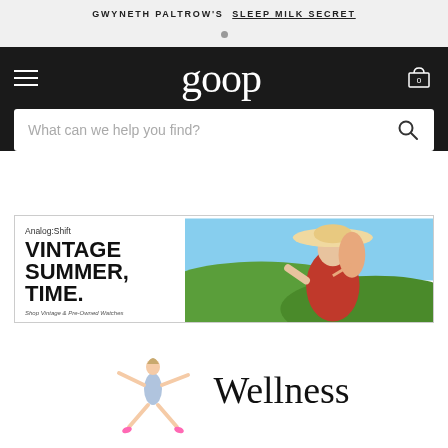GWYNETH PALTROW'S SLEEP MILK SECRET
goop
What can we help you find?
[Figure (infographic): Analog:Shift advertisement banner showing VINTAGE SUMMER, TIME. with a woman in a wide-brim hat on a sunny hillside. Text: Shop Vintage & Pre-Owned Watches]
[Figure (illustration): Wellness category icon: stylized human figure with arms and legs spread wide, wearing a swimsuit, with pink high heels]
Wellness